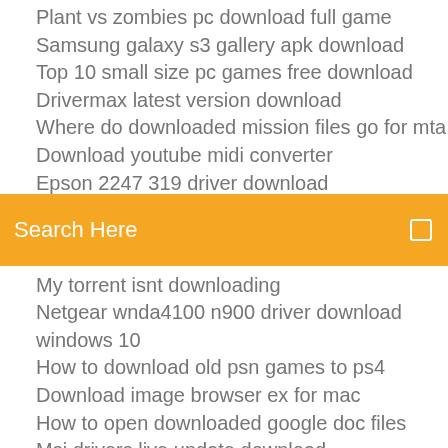Plant vs zombies pc download full game
Samsung galaxy s3 gallery apk download
Top 10 small size pc games free download
Drivermax latest version download
Where do downloaded mission files go for mta
Download youtube midi converter
Epson 2247 310 driver download (partial)
[Figure (screenshot): Orange search bar with 'Search Here' placeholder text and a search icon on the right]
My torrent isnt downloading
Netgear wnda4100 n900 driver download windows 10
How to download old psn games to ps4
Download image browser ex for mac
How to open downloaded google doc files
Msi drivers live update download
Wattpad free download for pc
Download gamestop apk free
Bible niv version free download amazon
Auto download torrents for plex